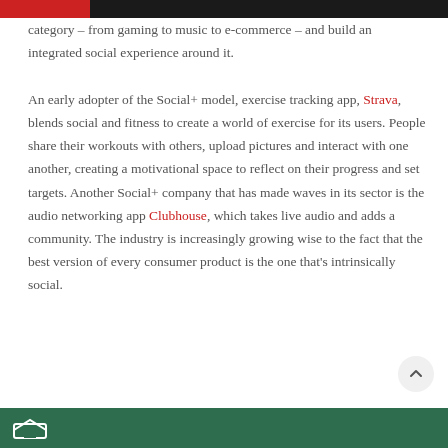category – from gaming to music to e-commerce – and build an integrated social experience around it.

An early adopter of the Social+ model, exercise tracking app, Strava, blends social and fitness to create a world of exercise for its users. People share their workouts with others, upload pictures and interact with one another, creating a motivational space to reflect on their progress and set targets. Another Social+ company that has made waves in its sector is the audio networking app Clubhouse, which takes live audio and adds a community. The industry is increasingly growing wise to the fact that the best version of every consumer product is the one that's intrinsically social.